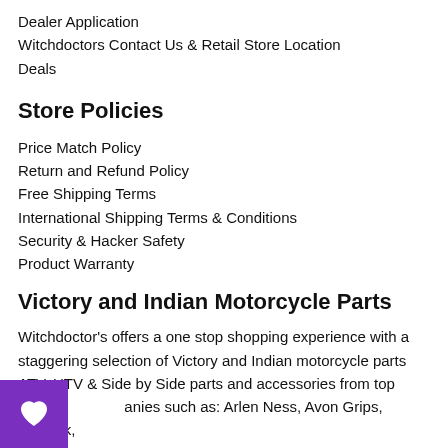Dealer Application
Witchdoctors Contact Us & Retail Store Location
Deals
Store Policies
Price Match Policy
Return and Refund Policy
Free Shipping Terms
International Shipping Terms & Conditions
Security & Hacker Safety
Product Warranty
Victory and Indian Motorcycle Parts
Witchdoctor's offers a one stop shopping experience with a staggering selection of Victory and Indian motorcycle parts ATV, UTV & Side by Side parts and accessories from top rated companies such as: Arlen Ness, Avon Grips, Airhawk, mach, Barnett, Bel-Ray, Custom Dynamics, Dakota Digital, Drag Specialties, Dynojet, EBC, Freedom Performance, JW